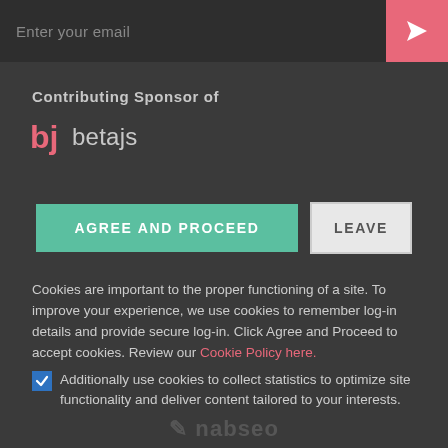Enter your email
Contributing Sponsor of
[Figure (logo): betajs logo — stylized 'bj' icon in coral/salmon color followed by 'betajs' text]
AGREE AND PROCEED
LEAVE
Cookies are important to the proper functioning of a site. To improve your experience, we use cookies to remember log-in details and provide secure log-in. Click Agree and Proceed to accept cookies. Review our Cookie Policy here.
Additionally use cookies to collect statistics to optimize site functionality and deliver content tailored to your interests.